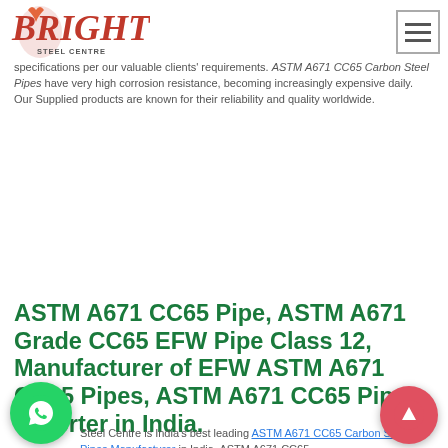Bright Steel Centre - Carbon Steel Pipes Manufacturer
Carbon Steel Pipes Manufacturer in India. We have been an essential part of the growth and development of the Indian market and quality exports. We manufacture ASTM A671 CC65 Carbon Steel Pipe in various sizes and shapes and with different specifications per our valuable clients' requirements. ASTM A671 CC65 Carbon Steel Pipes have very high corrosion resistance, becoming increasingly expensive daily. Our Supplied products are known for their reliability and quality worldwide.
ASTM A671 CC65 Pipe, ASTM A671 Grade CC65 EFW Pipe Class 12, Manufacturer of EFW ASTM A671 CC65 Pipes, ASTM A671 CC65 Pipes exporter in India.
Steel Centre is India's best leading ASTM A671 CC65 Carbon Steel Pipes Manufacturer in India. ASTM A671 CC65